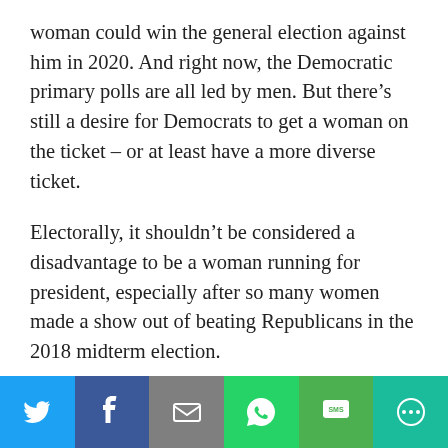woman could win the general election against him in 2020. And right now, the Democratic primary polls are all led by men. But there’s still a desire for Democrats to get a woman on the ticket – or at least have a more diverse ticket.
Electorally, it shouldn’t be considered a disadvantage to be a woman running for president, especially after so many women made a show out of beating Republicans in the 2018 midterm election.
Brookings Institution called 2018 the “Year of the Woman,” with 52 percent of the electorate being
[Figure (infographic): Social sharing bar with Twitter, Facebook, Email, WhatsApp, SMS, and More buttons]